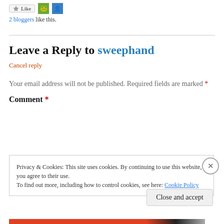[Figure (screenshot): Like button and two blogger avatar thumbnails at top of page]
2 bloggers like this.
Leave a Reply to sweephand
Cancel reply
Your email address will not be published. Required fields are marked *
Comment *
Privacy & Cookies: This site uses cookies. By continuing to use this website, you agree to their use. To find out more, including how to control cookies, see here: Cookie Policy
Close and accept